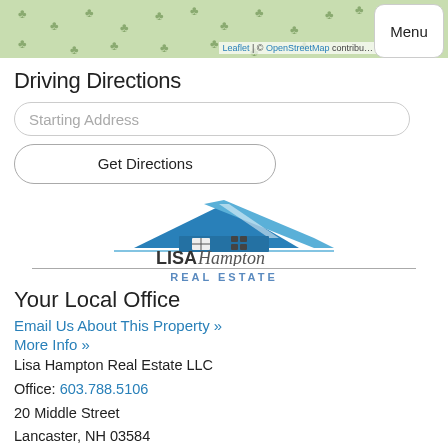[Figure (map): Green map strip showing OpenStreetMap tiles with tree icons and Leaflet attribution]
Driving Directions
Starting Address
Get Directions
[Figure (logo): Lisa Hampton Real Estate logo with blue roof/house graphic, LISA Hampton text, and REAL ESTATE subtitle]
Your Local Office
Email Us About This Property »
More Info »
Lisa Hampton Real Estate LLC
Office: 603.788.5106
20 Middle Street
Lancaster, NH 03584
Ask A Question